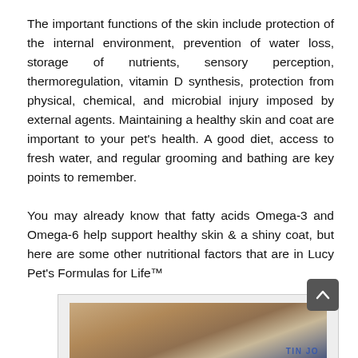The important functions of the skin include protection of the internal environment, prevention of water loss, storage of nutrients, sensory perception, thermoregulation, vitamin D synthesis, protection from physical, chemical, and microbial injury imposed by external agents. Maintaining a healthy skin and coat are important to your pet's health. A good diet, access to fresh water, and regular grooming and bathing are key points to remember.
You may already know that fatty acids Omega-3 and Omega-6 help support healthy skin & a shiny coat, but here are some other nutritional factors that are in Lucy Pet's Formulas for Life™
[Figure (photo): Photo of a fluffy dog with a Lucy Pet product label visible at the bottom, with a scroll-up button overlay in the top-right corner]